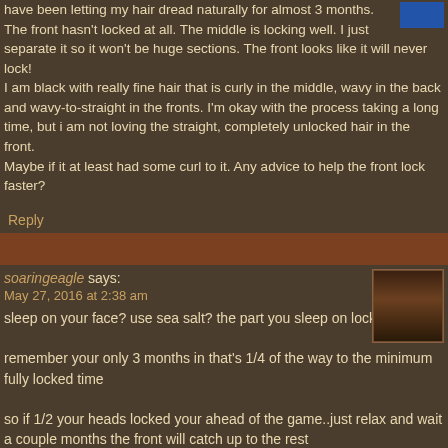have been letting my hair dread naturally for almost 3 months. The front hasn't locked at all. The middle is locking well. I just separate it so it won't be huge sections. The front looks like it willnever lock! I am black with really fine hair that is curly in the middle, wavy in the back and wavy-to-straight in the fronts. I'm okay withthe process taking a long time, but i am not loving the straight, completely unlocked hair in the front. Maybe if it at least had some curl to it. Any advice to help the front lock faster?
Reply
soaringeagle says:
May 27, 2016 at 2:38 am
sleep on your face? use sea salt? the part you sleep on locks fastest
remember your only 3 months in that's 1/4 of the way to the minimum fully locked time
so if 1/2 your heads locked your ahead of the game..just relax and wait a couple months the front will catch up to the rest
Reply